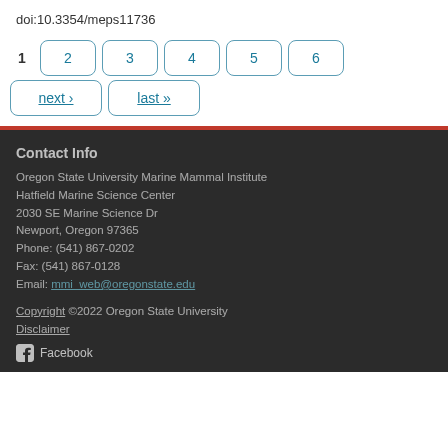doi:10.3354/meps11736
1  2  3  4  5  6  next ›  last »
Contact Info
Oregon State University Marine Mammal Institute
Hatfield Marine Science Center
2030 SE Marine Science Dr
Newport, Oregon 97365
Phone: (541) 867-0202
Fax: (541) 867-0128
Email: mmi_web@oregonstate.edu
Copyright ©2022 Oregon State University
Disclaimer
Facebook